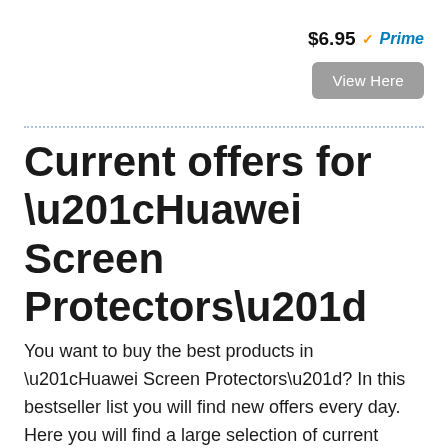$6.95 ✓Prime
View Here
Current offers for “Huawei Screen Protectors”
You want to buy the best products in “Huawei Screen Protectors”? In this bestseller list you will find new offers every day. Here you will find a large selection of current products in the category “Huawei Screen Protectors”